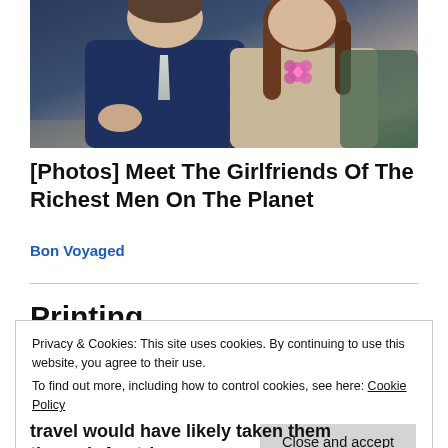[Figure (photo): Two people sitting side by side: a man in a dark navy suit with a light tie on the left, and a woman with long brown hair wearing a beige lace outfit with a pink floral brooch on the right.]
[Photos] Meet The Girlfriends Of The Richest Men On The Planet
Bon Voyaged
Privacy & Cookies: This site uses cookies. By continuing to use this website, you agree to their use.
To find out more, including how to control cookies, see here: Cookie Policy
Close and accept
travel would have likely taken them through Austria-